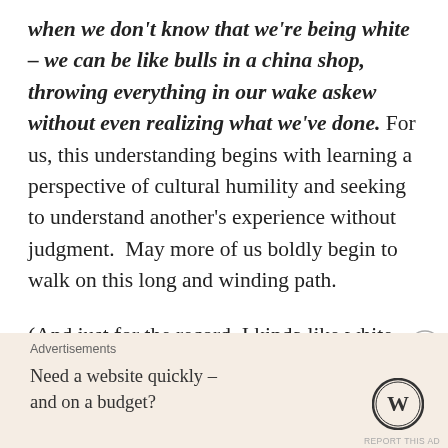when we don't know that we're being white – we can be like bulls in a china shop, throwing everything in our wake askew without even realizing what we've done. For us, this understanding begins with learning a perspective of cultural humility and seeking to understand another's experience without judgment.  May more of us boldly begin to walk on this long and winding path.
(And just for the record, I kinda like white hipster music.)
[Figure (illustration): Decorative ornamental flourish / divider in black ink]
Advertisements
Need a website quickly – and on a budget?